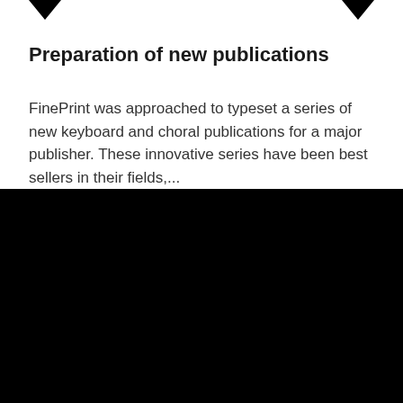Preparation of new publications
FinePrint was approached to typeset a series of new keyboard and choral publications for a major publisher. These innovative series have been best sellers in their fields,...